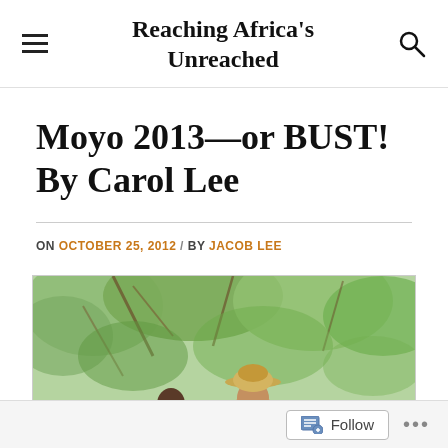Reaching Africa's Unreached
Moyo 2013—or BUST! By Carol Lee
ON OCTOBER 25, 2012 / BY JACOB LEE
[Figure (photo): Two people outdoors among green trees, one wearing a tan hat, photographed in a tropical/jungle setting.]